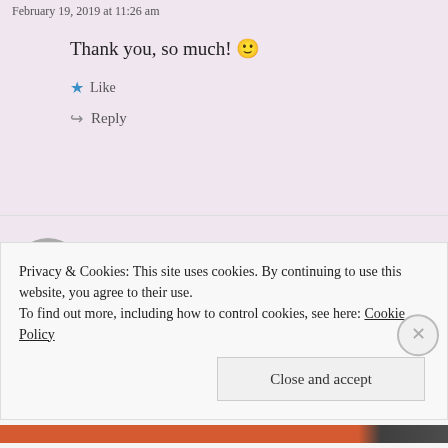February 19, 2019 at 11:26 am
Thank you, so much! 🙂
Like
Reply
RhapsodyBoheme
February 19, 2019 at 10:14 am
Privacy & Cookies: This site uses cookies. By continuing to use this website, you agree to their use. To find out more, including how to control cookies, see here: Cookie Policy
Close and accept